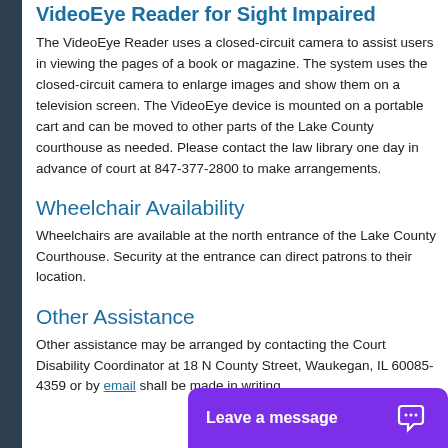VideoEye Reader for Sight Impaired
The VideoEye Reader uses a closed-circuit camera to assist users in viewing the pages of a book or magazine. The system uses the closed-circuit camera to enlarge images and show them on a television screen. The VideoEye device is mounted on a portable cart and can be moved to other parts of the Lake County courthouse as needed. Please contact the law library one day in advance of court at 847-377-2800 to make arrangements.
Wheelchair Availability
Wheelchairs are available at the north entrance of the Lake County Courthouse. Security at the entrance can direct patrons to their location.
Other Assistance
Other assistance may be arranged by contacting the Court Disability Coordinator at 18 N County Street, Waukegan, IL 60085-4359 or by email. shall be made in writing